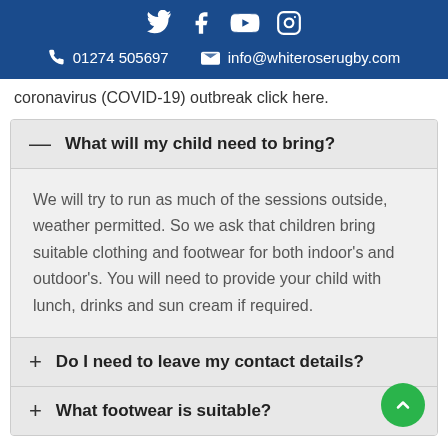Social icons: Twitter, Facebook, YouTube, Instagram | 01274 505697 | info@whiteroserugby.com
coronavirus (COVID-19) outbreak click here.
— What will my child need to bring?
We will try to run as much of the sessions outside, weather permitted. So we ask that children bring suitable clothing and footwear for both indoor's and outdoor's. You will need to provide your child with lunch, drinks and sun cream if required.
+ Do I need to leave my contact details?
+ What footwear is suitable?